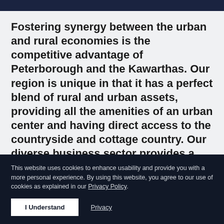Fostering synergy between the urban and rural economies is the competitive advantage of Peterborough and the Kawarthas. Our region is unique in that it has a perfect blend of rural and urban assets, providing all the amenities of an urban center and having direct access to the countryside and cottage country. Our diverse business sector provides a wide range of opportunities for growth, but it also requires
This website uses cookies to enhance usability and provide you with a more personal experience. By using this website, you agree to our use of cookies as explained in our Privacy Policy.
I Understand   Privacy